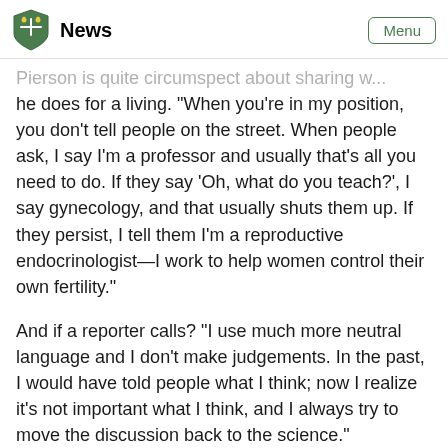News | Menu
Pierson is quite circumspect about sharing what he does for a living. "When you're in my position, you don't tell people on the street. When people ask, I say I'm a professor and usually that's all you need to do. If they say 'Oh, what do you teach?', I say gynecology, and that usually shuts them up. If they persist, I tell them I'm a reproductive endocrinologist—I work to help women control their own fertility."
And if a reporter calls? "I use much more neutral language and I don't make judgements. In the past, I would have told people what I think; now I realize it's not important what I think, and I always try to move the discussion back to the science."
As for the correspondence he receives about follicular waves or other areas of his research, Pierson said he always responds, no matter how hate-filled or hurtful